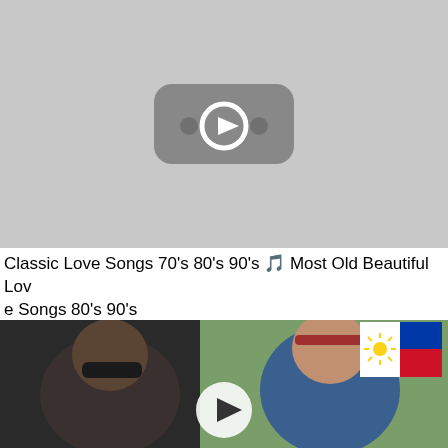[Figure (screenshot): YouTube video thumbnail placeholder showing gray background with YouTube play button icon]
Classic Love Songs 70's 80's 90's 🎵 Most Old Beautiful Love Songs 80's 90's
[Figure (photo): Photo of two people in a car selfie — a woman with sunglasses and a man with a headband wearing a blue shirt. Philippine flag visible in top right corner. Play button overlay in center.]